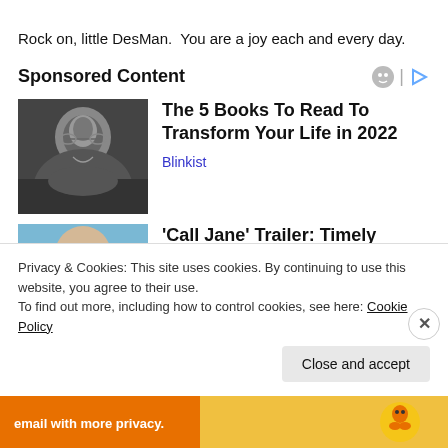Rock on, little DesMan.  You are a joy each and every day.
Sponsored Content
[Figure (photo): Black and white photo of a young man with long hair and round glasses]
The 5 Books To Read To Transform Your Life in 2022
Blinkist
[Figure (photo): Partial photo with blue/sky background showing top of a person's head]
'Call Jane' Trailer: Timely
Privacy & Cookies: This site uses cookies. By continuing to use this website, you agree to their use.
To find out more, including how to control cookies, see here: Cookie Policy
Close and accept
[Figure (infographic): Bottom banner ad: email with more privacy, with DuckDuckGo duck logo]